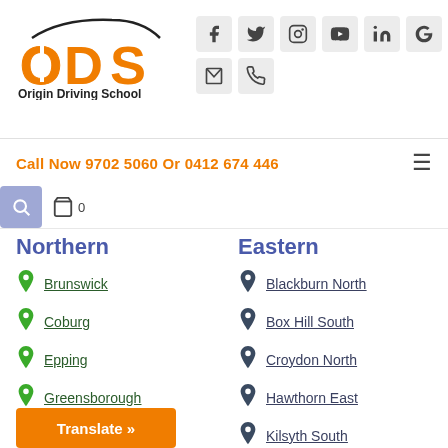[Figure (logo): Origin Driving School logo with ODS letters and car silhouette]
[Figure (infographic): Social media icons: Facebook, Twitter, Instagram, YouTube, LinkedIn, Google, Email, Phone]
Call Now 9702 5060 Or 0412 674 446
Northern
Eastern
Brunswick
Blackburn North
Coburg
Box Hill South
Epping
Croydon North
Greensborough
Hawthorn East
Kilsyth South